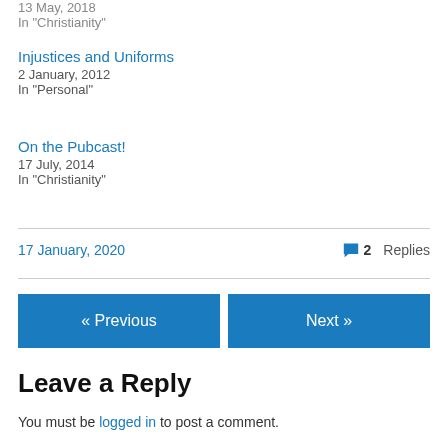13 May, 2018
In "Christianity"
Injustices and Uniforms
2 January, 2012
In "Personal"
On the Pubcast!
17 July, 2014
In "Christianity"
17 January, 2020     2 Replies
« Previous    Next »
Leave a Reply
You must be logged in to post a comment.